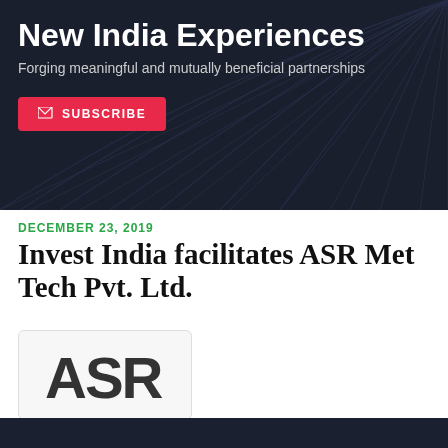[Figure (illustration): Dark banner with radial lines pattern in background, heading 'New India Experiences', subtitle 'Forging meaningful and mutually beneficial partnerships', and a red Subscribe button with envelope icon]
New India Experiences
Forging meaningful and mutually beneficial partnerships
DECEMBER 23, 2019
Invest India facilitates ASR Met Tech Pvt. Ltd.
[Figure (logo): ASR logo in bold stylized letters on a light gray/white background with rounded border box]
SHARE:
[Figure (infographic): Social share buttons: Facebook (blue circle with f), Twitter (light blue circle with bird), LinkedIn (blue circle with in), WhatsApp (green circle with phone), and pink/magenta circle with three dots (more options)]